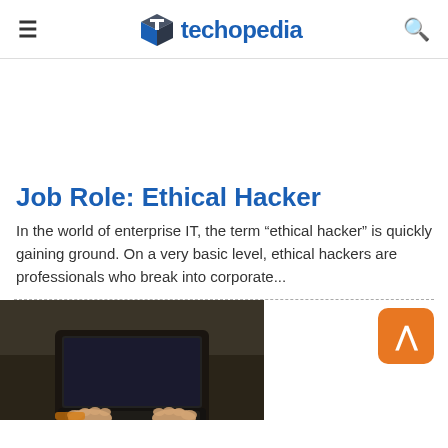techopedia
Job Role: Ethical Hacker
In the world of enterprise IT, the term “ethical hacker” is quickly gaining ground. On a very basic level, ethical hackers are professionals who break into corporate...
[Figure (photo): Aerial view of person using laptop on dark surface, hands visible typing on keyboard]